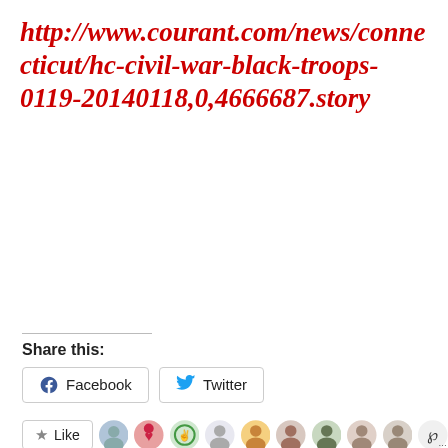http://www.courant.com/news/connecticut/hc-civil-war-black-troops-0119-20140118,0,4666687.story
Share this:
Facebook  Twitter
Like  [avatars]  ...
34 bloggers like this.